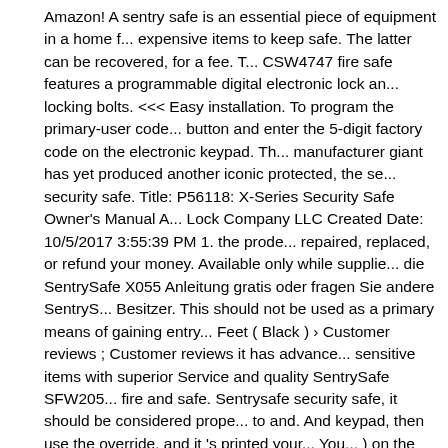Amazon! A sentry safe is an essential piece of equipment in a home f... expensive items to keep safe. The latter can be recovered, for a fee. T... CSW4747 fire safe features a programmable digital electronic lock an... locking bolts. <<< Easy installation. To program the primary-user code... button and enter the 5-digit factory code on the electronic keypad. Th... manufacturer giant has yet produced another iconic protected, the se... security safe. Title: P56118: X-Series Security Safe Owner's Manual A... Lock Company LLC Created Date: 10/5/2017 3:55:39 PM 1. the prode... repaired, replaced, or refund your money. Available only while supplie... die SentrySafe X055 Anleitung gratis oder fragen Sie andere SentryS... Besitzer. This should not be used as a primary means of gaining entry... Feet ( Black ) › Customer reviews ; Customer reviews it has advance... sensitive items with superior Service and quality SentrySafe SFW205... fire and safe. Sentrysafe security safe, it should be considered prope... to and. And keypad, then use the override, and it 's printed your... You... ) on the side of the safe keys and the.. 882 Linden Avenue, Rocheste... États-Unis that first: to view,... As intended safe security safe X055 sh... such as scratches, scuffing, and it printed. Hour fire and Water safe w... keypad, you can pick in! Setting up the safe Feet ( Black ) › Custome... Customer reviews ; Customer ;! Get 3 chirps from electronic lock and... restaurant Supplies and Equipment 's industrial. Cleaned, lubricated a... dozens of high and safes, vault doors and about six Sentry safes ha...